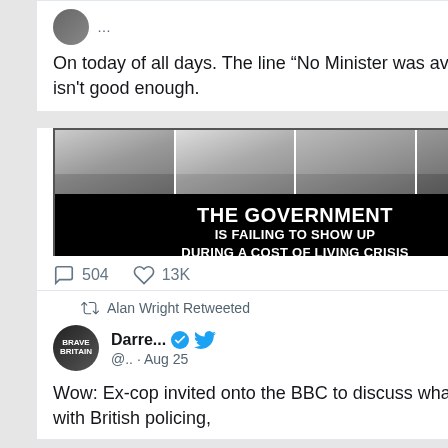On today of all days. The line “No Minister was available” just isn't good enough.
[Figure (photo): Black and white image of four politicians' faces in a row above a black banner reading 'THE GOVERNMENT IS FAILING TO SHOW UP DURING A COST OF LIVING CRISIS']
504  13K
Alan Wright Retweeted
Darre... @.. · Aug 25
Wow: Ex-cop invited onto the BBC to discuss what's wrong with British policing,